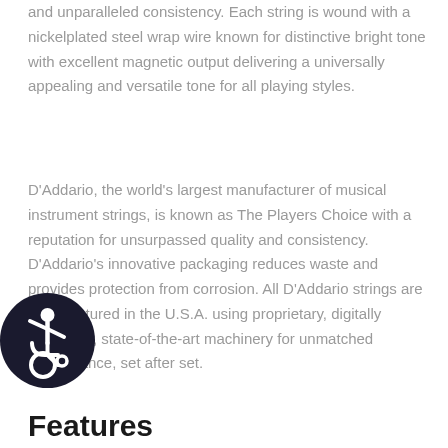and unparalleled consistency. Each string is wound with a nickelplated steel wrap wire known for distinctive bright tone with excellent magnetic output delivering a universally appealing and versatile tone for all playing styles.
D'Addario, the world's largest manufacturer of musical instrument strings, is known as The Players Choice with a reputation for unsurpassed quality and consistency. D'Addario's innovative packaging reduces waste and provides protection from corrosion. All D'Addario strings are manufactured in the U.S.A. using proprietary, digitally controlled, state-of-the-art machinery for unmatched performance, set after set.
[Figure (illustration): Accessibility icon — wheelchair user symbol in white on a dark circular background]
Features